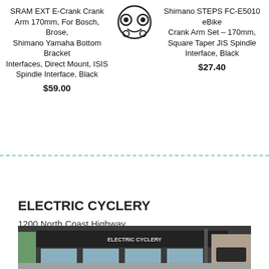SRAM EXT E-Crank Crank Arm 170mm, For Bosch, Brose, Shimano Yamaha Bottom Bracket Interfaces, Direct Mount, ISIS Spindle Interface, Black
[Figure (logo): Electric Cyclery logo — bicycle icon with circular design]
Shimano STEPS FC-E5010 eBike Crank Arm Set – 170mm, Square Taper JIS Spindle Interface, Black
$59.00
$27.40
ELECTRIC CYCLERY
1200 North Coast Highway
Laguna Beach, California  92651.
[Figure (photo): Storefront photo of Electric Cyclery shop with dark awning, windows showing bikes, street view]